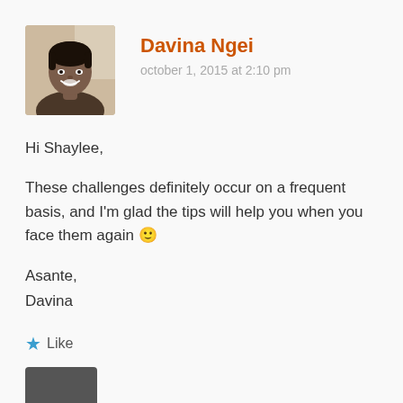[Figure (photo): Profile photo of Davina Ngei, a woman smiling]
Davina Ngei
october 1, 2015 at 2:10 pm
Hi Shaylee,

These challenges definitely occur on a frequent basis, and I'm glad the tips will help you when you face them again 🙂

Asante,
Davina
★ Like
Reply